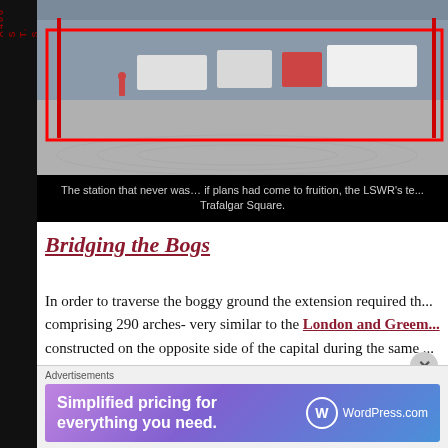[Figure (photo): Street scene photo showing urban area with vehicles, possibly near Trafalgar Square, with a red rectangle overlay highlighting an area]
The station that never was… if plans had come to fruition, the LSWR's te... Trafalgar Square.
Bridging the Bogs
In order to traverse the boggy ground the extension required th... comprising 290 arches- very similar to the London and Greem... constructed on the opposite side of the capital during the same ...
[Figure (photo): Historical architectural drawing or map showing archways or structural elements]
Advertisements
[Figure (other): WordPress.com advertisement banner: Simplified pricing for everything you need.]